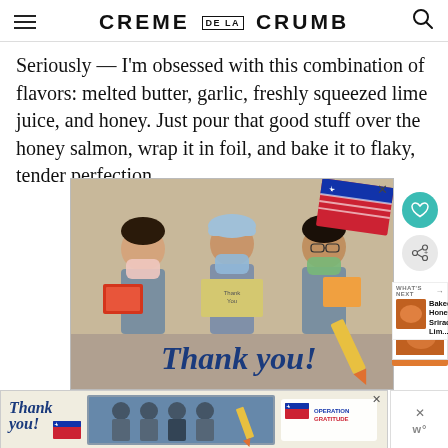CREME DE LA CRUMB
Seriously — I'm obsessed with this combination of flavors: melted butter, garlic, freshly squeezed lime juice, and honey. Just pour that good stuff over the honey salmon, wrap it in foil, and bake it to flaky, tender perfection.
[Figure (photo): Advertisement showing three healthcare workers in scrubs and masks holding thank-you cards, with a 'Thank you!' script text below and patriotic/pencil decorative elements. Below is a second ad for Operation Gratitude showing firefighters.]
Thank you!